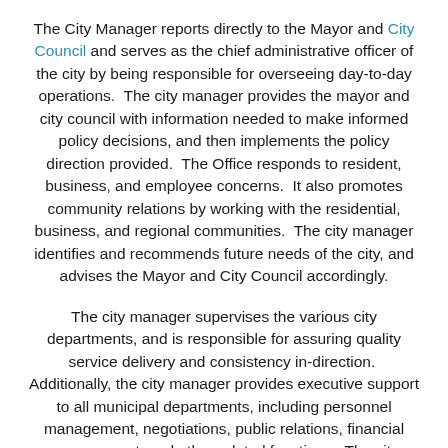The City Manager reports directly to the Mayor and City Council and serves as the chief administrative officer of the city by being responsible for overseeing day-to-day operations.  The city manager provides the mayor and city council with information needed to make informed policy decisions, and then implements the policy direction provided.  The Office responds to resident, business, and employee concerns.  It also promotes community relations by working with the residential, business, and regional communities.  The city manager identifies and recommends future needs of the city, and advises the Mayor and City Council accordingly.
The city manager supervises the various city departments, and is responsible for assuring quality service delivery and consistency in-direction.  Additionally, the city manager provides executive support to all municipal departments, including personnel management, negotiations, public relations, financial management, and other related functions.  The city manager also develops and recommends the annual budget (and ensures the budget is executed as approved), the capital improvement program, and policy research.  The city manager is also responsible for development of long range plans, policy research and recommendations, and hiring employees.